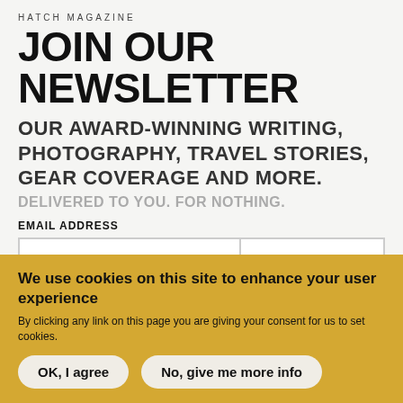HATCH MAGAZINE
JOIN OUR NEWSLETTER
OUR AWARD-WINNING WRITING, PHOTOGRAPHY, TRAVEL STORIES, GEAR COVERAGE AND MORE.
DELIVERED TO YOU. FOR NOTHING.
EMAIL ADDRESS
[Figure (other): Email address input field and sign me up button]
[Figure (other): Loading spinner graphic]
We use cookies on this site to enhance your user experience
By clicking any link on this page you are giving your consent for us to set cookies.
OK, I agree
No, give me more info